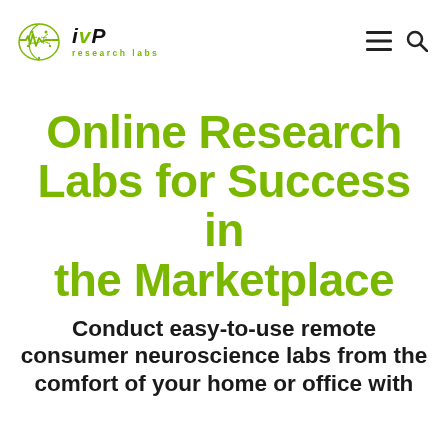[Figure (logo): IVP Research Labs logo: green brain icon with EEG line and IVP text in italic bold, 'research labs' in green below]
Online Research Labs for Success in the Marketplace
Conduct easy-to-use remote consumer neuroscience labs from the comfort of your home or office with